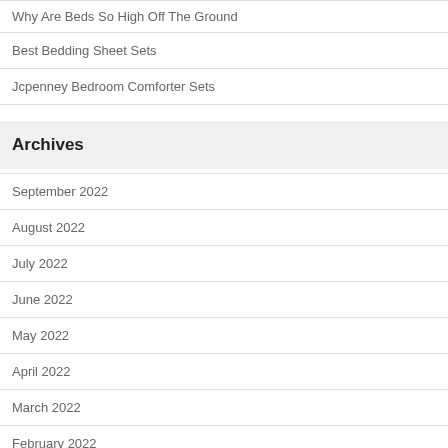Why Are Beds So High Off The Ground
Best Bedding Sheet Sets
Jcpenney Bedroom Comforter Sets
Archives
September 2022
August 2022
July 2022
June 2022
May 2022
April 2022
March 2022
February 2022
January 2022